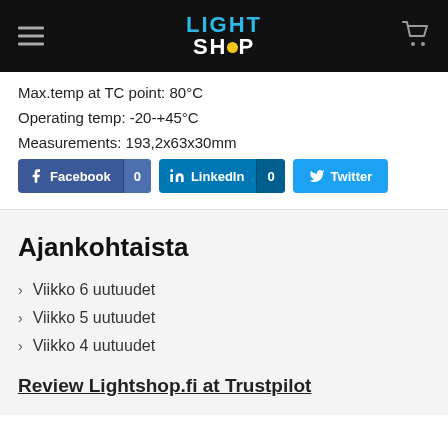LIGHTSHOP
Max.temp at TC point: 80°C
Operating temp: -20-+45°C
Measurements: 193,2x63x30mm
[Figure (infographic): Social sharing buttons: Facebook (0 shares), LinkedIn (0 shares), Twitter]
Ajankohtaista
Viikko 6 uutuudet
Viikko 5 uutuudet
Viikko 4 uutuudet
Review Lightshop.fi at Trustpilot